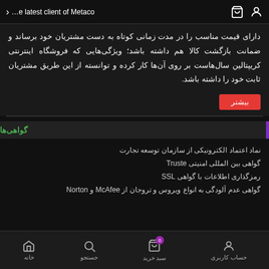…e latest client of Metaco
دارای قیمت مناسب را در مدت زمانی کوتاه به دست مشتریان خود برساند و ضمانت بازگشت کالا هم داشته باشد؛ ویژگی‌هایی که فروشگاه اینترنتی کریپتالین سال‌هاست بر روی آن‌ها کار کرده و توانسته از این طریق مشتریان ثابت خود را داشته باشد.
گواهی‌ها
نماد اعتماد الکترونیکی از سازمان توسعه تجارت
گواهی بین المللی امنیتی Truste
رمزگذاری اطلاعات با گواهی SSL
گواهی عدم آلودگی به انواع ویروس و تروجان از McAfee و Norton
حساب کاربری | سبد خرید | جستجو | خانه